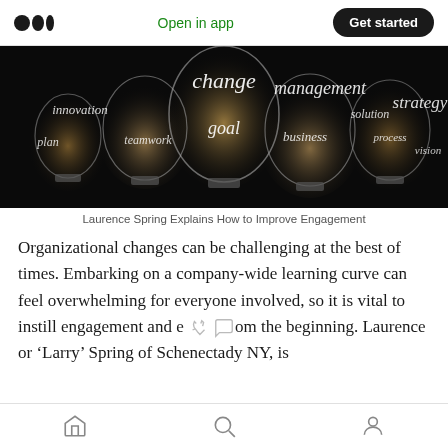Open in app | Get started
[Figure (photo): Multiple illuminated lightbulbs on dark background with words written inside them: change, management, innovation, plan, teamwork, goal, business, solution, process, strategy, vision]
Laurence Spring Explains How to Improve Engagement
Organizational changes can be challenging at the best of times. Embarking on a company-wide learning curve can feel overwhelming for everyone involved, so it is vital to instill engagement and e... om the beginning. Laurence or ‘Larry’ Spring of Schenectady NY, is
Home | Search | Profile